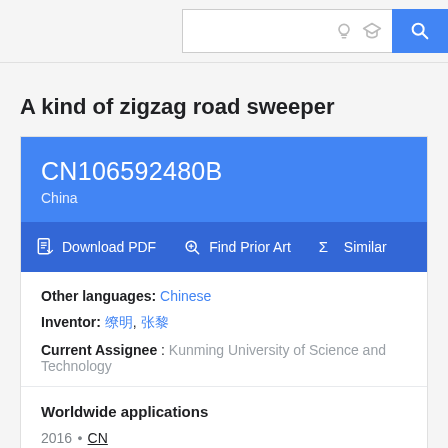Search bar with icons
A kind of zigzag road sweeper
CN106592480B
China
Download PDF  Find Prior Art  Similar
Other languages: Chinese
Inventor: 朱明, 张鑫
Current Assignee : Kunming University of Science and Technology
Worldwide applications
2016 · CN